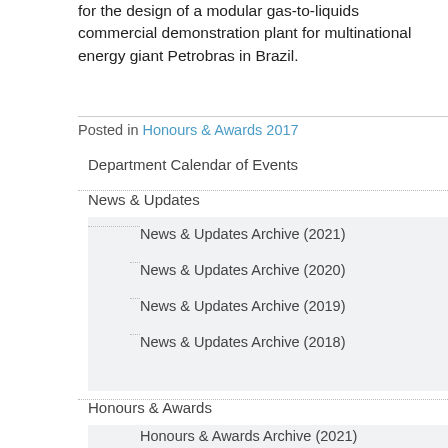for the design of a modular gas-to-liquids commercial demonstration plant for multinational energy giant Petrobras in Brazil.
Posted in Honours & Awards 2017
Department Calendar of Events
News & Updates
News & Updates Archive (2021)
News & Updates Archive (2020)
News & Updates Archive (2019)
News & Updates Archive (2018)
Honours & Awards
Honours & Awards Archive (2021)